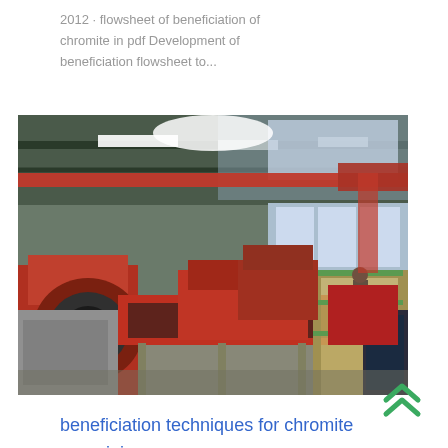2012 · flowsheet of beneficiation of chromite in pdf Development of beneficiation flowsheet to...
[Figure (photo): Industrial mining/beneficiation facility interior showing large red ore processing machinery, conveyor belts, and equipment inside a steel-framed warehouse with overhead lighting and natural light from windows.]
beneficiation techniques for chromite ore mining